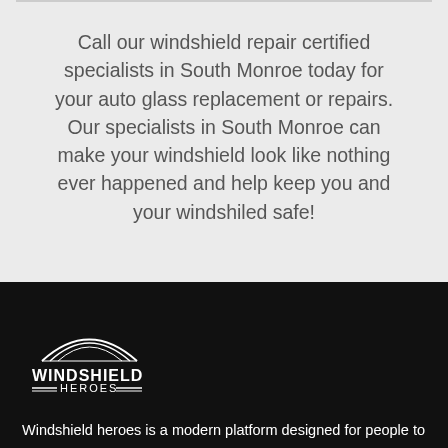Call our windshield repair certified specialists in South Monroe today for your auto glass replacement or repairs. Our specialists in South Monroe can make your windshield look like nothing ever happened and help keep you and your windshiled safe!
[Figure (logo): Windshield Heroes logo — white text on dark background with windshield arc graphic and decorative lines]
Windshield heroes is a modern platform designed for people to